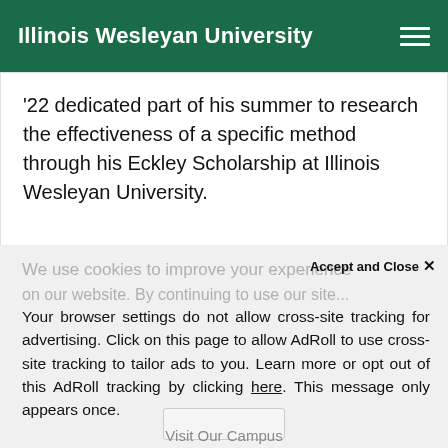Illinois Wesleyan University
'22 dedicated part of his summer to research the effectiveness of a specific method through his Eckley Scholarship at Illinois Wesleyan University.
We use cookies to improve your experience on our website. By continuing to use our site...
Accept and Close ×
Your browser settings do not allow cross-site tracking for advertising. Click on this page to allow AdRoll to use cross-site tracking to tailor ads to you. Learn more or opt out of this AdRoll tracking by clicking here. This message only appears once.
Visit Our Campus